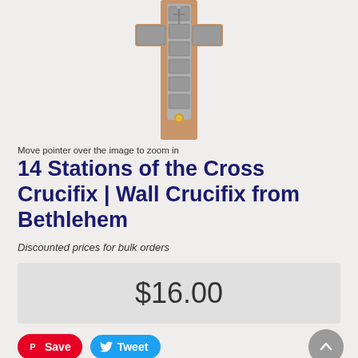[Figure (photo): A wall crucifix from Bethlehem featuring 14 Stations of the Cross, with olive wood frame and metallic relief panels, shown from above on a textured light background.]
Move pointer over the image to zoom in
14 Stations of the Cross Crucifix | Wall Crucifix from Bethlehem
Discounted prices for bulk orders
$16.00
Save
Tweet